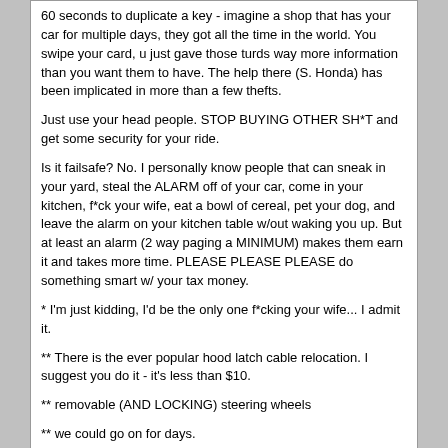60 seconds to duplicate a key - imagine a shop that has your car for multiple days, they got all the time in the world. You swipe your card, u just gave those turds way more information than you want them to have. The help there (S. Honda) has been implicated in more than a few thefts.

Just use your head people. STOP BUYING OTHER SH*T and get some security for your ride.

Is it failsafe? No. I personally know people that can sneak in your yard, steal the ALARM off of your car, come in your kitchen, f*ck your wife, eat a bowl of cereal, pet your dog, and leave the alarm on your kitchen table w/out waking you up. But at least an alarm (2 way paging a MINIMUM) makes them earn it and takes more time. PLEASE PLEASE PLEASE do something smart w/ your tax money.

* I'm just kidding, I'd be the only one f*cking your wife... I admit it.

** There is the ever popular hood latch cable relocation. I suggest you do it - it's less than $10.

** removable (AND LOCKING) steering wheels

** we could go on for days.

PLEASE start getting your vehicles secured a little better. SOME security is better than none.
redpanda | 02-05-2008, 11:31 AM
good write-up. gwinnett's been getting big on stolen hondas
Sammich | 02-05-2008, 11:36 AM
SOME security is better than none.